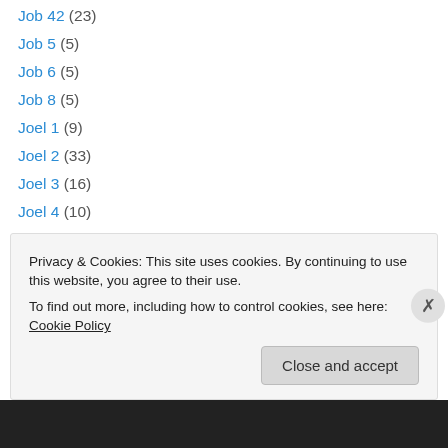Job 42 (23)
Job 5 (5)
Job 6 (5)
Job 8 (5)
Joel 1 (9)
Joel 2 (33)
Joel 3 (16)
Joel 4 (10)
John 1 (53)
John 10 (21)
John 11 (28)
John 12 (45)
John 13 (17)
John 14 (36)
Privacy & Cookies: This site uses cookies. By continuing to use this website, you agree to their use.
To find out more, including how to control cookies, see here: Cookie Policy